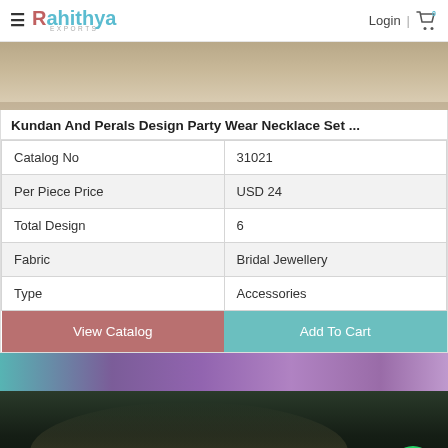Rahithya Exports — Login | Cart (0)
[Figure (photo): Top portion of product photo showing wooden/beige background with jewellery]
Kundan And Perals Design Party Wear Necklace Set ...
| Catalog No | 31021 |
| Per Piece Price | USD 24 |
| Total Design | 6 |
| Fabric | Bridal Jewellery |
| Type | Accessories |
[Figure (photo): Kundan and pearls necklace set displayed on dark velvet background with colourful flowers (teal, blue, purple) in background; WhatsApp contact button visible]